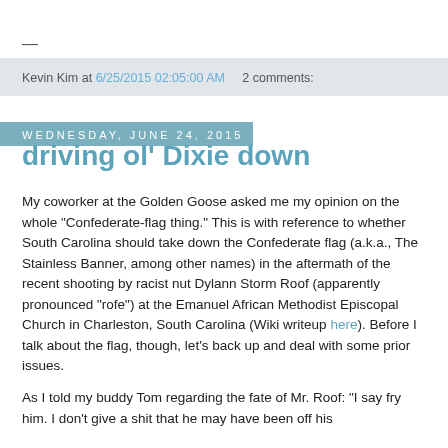—
Kevin Kim at 6/25/2015 02:05:00 AM    2 comments:
Wednesday, June 24, 2015
driving ol' Dixie down
My coworker at the Golden Goose asked me my opinion on the whole "Confederate-flag thing." This is with reference to whether South Carolina should take down the Confederate flag (a.k.a., The Stainless Banner, among other names) in the aftermath of the recent shooting by racist nut Dylann Storm Roof (apparently pronounced "rofe") at the Emanuel African Methodist Episcopal Church in Charleston, South Carolina (Wiki writeup here). Before I talk about the flag, though, let's back up and deal with some prior issues.
As I told my buddy Tom regarding the fate of Mr. Roof: "I say fry him. I don't give a shit that he may have been off his